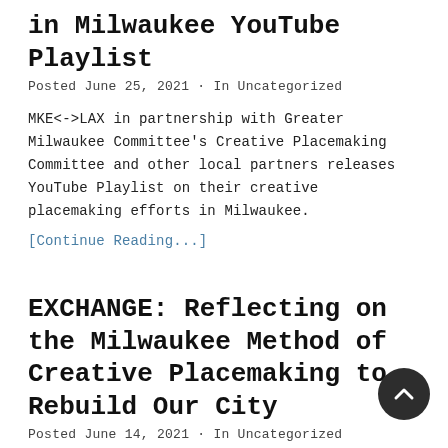in Milwaukee YouTube Playlist
Posted June 25, 2021 · In Uncategorized
MKE<->LAX in partnership with Greater Milwaukee Committee's Creative Placemaking Committee and other local partners releases YouTube Playlist on their creative placemaking efforts in Milwaukee.
[Continue Reading...]
EXCHANGE: Reflecting on the Milwaukee Method of Creative Placemaking to Rebuild Our City
Posted June 14, 2021 · In Uncategorized
Co-Written by Angela Damiani, GMC Member and CEO/Co-Founder of NEWaukee and Sara Daleiden, Beerline Trail Project Leader and Founder/Director of MKE<->LAX The Milwaukee Night Market is returning to Downtown Milwaukee this summer